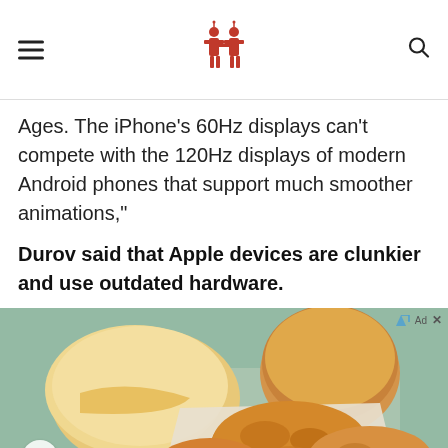[Site logo/navigation header]
Ages. The iPhone’s 60Hz displays can’t compete with the 120Hz displays of modern Android phones that support much smoother animations,”
Durov said that Apple devices are clunkier and use outdated hardware.
[Figure (photo): Advertisement image showing fried chicken and bread rolls on a table with a teal/green background]
[Figure (photo): Walgreens advertisement: Save on Select Vitamins - Walgreens Photo, with Walgreens cursive logo and navigation arrow icon]